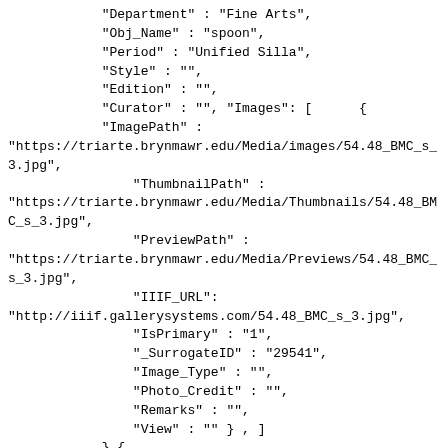"Department" : "Fine Arts",
            "Obj_Name" : "spoon",
            "Period" : "Unified Silla",
            "Style" : "",
            "Edition" : "",
            "Curator" : "", "Images": [      {
            "ImagePath" :
"https://triarte.brynmawr.edu/Media/images/54.48_BMC_s_3.jpg",
                "ThumbnailPath" :
"https://triarte.brynmawr.edu/Media/Thumbnails/54.48_BMC_s_3.jpg",
                "PreviewPath" :
"https://triarte.brynmawr.edu/Media/Previews/54.48_BMC_s_3.jpg",
                "IIIF_URL":
"http://iiif.gallerysystems.com/54.48_BMC_s_3.jpg",
                "IsPrimary" : "1",
                "_SurrogateID" : "29541",
                "Image_Type" : "",
                "Photo_Credit" : "",
                "Remarks" : "",
                "View" : "" } , ]
            },{
            "embark_ID" : 165730,
            "URL" :
"https://triarte.brynmawr.edu/Objects-1/info/165730",
                "Disp_Access_No" : "67.47.a-b",
                "_AccNumSort1" : "",
                "Disp_Create_DT" : "Probably 19th